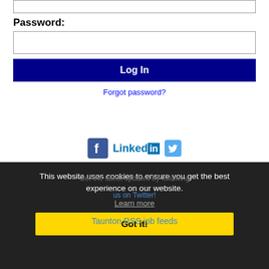[Figure (screenshot): Top empty input field (partially visible at top)]
Password:
[Figure (screenshot): Password input field (empty, white box with border)]
Log In
Forgot password?
[Figure (screenshot): Social media icons: Facebook, LinkedIn, Twitter]
This website uses cookies to ensure you get the best experience on our website.
Learn more
Got it!